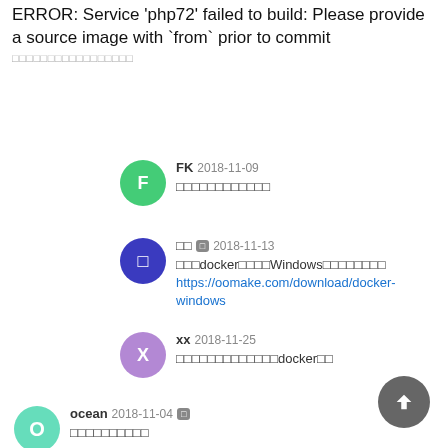ERROR: Service 'php72' failed to build: Please provide a source image with `from` prior to commit
□□□□□□□□□□□□□□□□□
FK  2018-11-09
□□□□□□□□□□□□
□□  2018-11-13
□□□docker□□□□Windows□□□□□□□□
https://oomake.com/download/docker-windows
xx  2018-11-25
□□□□□□□□□□□□□docker□□
ocean  2018-11-04
□□□□□□□□□□
ERROR: Service 'php72' failed to build: Get https://registry-1.docker.io/v2/: dial tcp: lookup registry-1.docker.io on 192.168.65.1:53: too many redirects